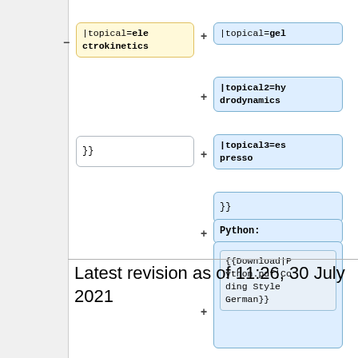[Figure (screenshot): Wiki diff view showing two columns. Left column has a yellow box with '|topical=electrokinetics' and a white box with '}}'. Right column has blue boxes with '|topical=gel', '|topical2=hydrodynamics', '|topical3=espresso', '}}', 'Python:', and '{{Download|Python.pdf|Coding Style German}}'.]
Latest revision as of 11:26, 30 July 2021